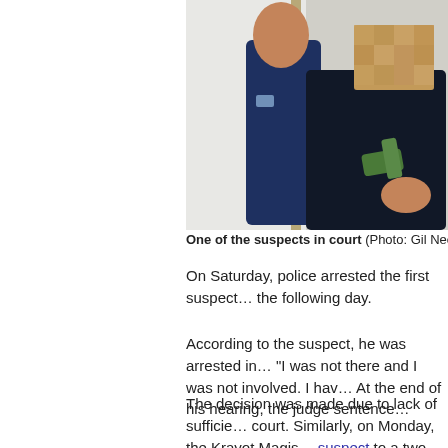[Figure (photo): Photo of one of the suspects being escorted in court, suspect's face is pixelated, a police officer in dark blue uniform stands behind them.]
One of the suspects in court (Photo: Gil Nechushta…
On Saturday, police arrested the first suspect… the following day.
According to the suspect, he was arrested in… "I was not there and I was not involved. I hav… At the end of his hearing, the judge sentence…
The decision was made due to lack of sufficie… court. Similarly, on Monday, the Krayot Magis… suspect to a two-day house arrest.